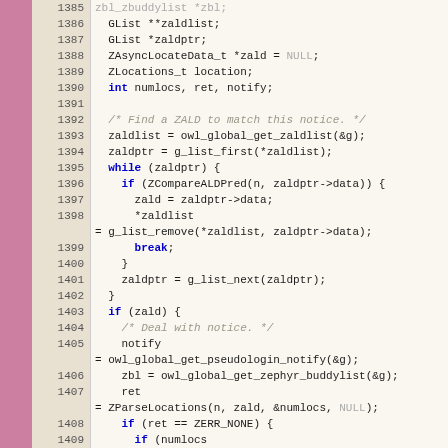[Figure (screenshot): Source code viewer showing C code lines 1385-1412 with line numbers, pink gutter, and syntax highlighting on a cream background. Code includes GList declarations, ZAsyncLocateData, while loop, if conditions, and function calls like owl_global_get_zaldlist, g_list_first, ZCompareALDPred, g_list_remove, g_list_next, owl_global_get_pseudologin_notify, owl_global_get_zephyr_buddylist, ZParseLocations, owl_zbuddylist_contains_user, ZGetLocations.]